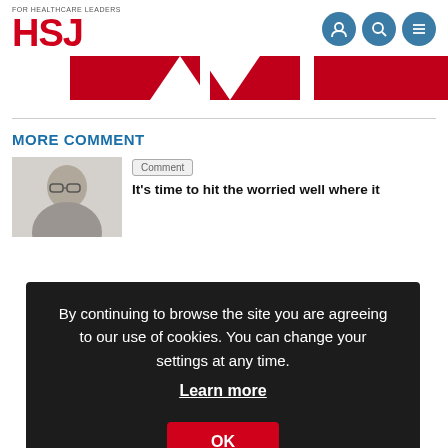FOR HEALTHCARE LEADERS HSJ
[Figure (photo): HSJ website banner with red graphic elements]
MORE COMMENT
[Figure (photo): Headshot of an older man with glasses]
Comment
It's time to hit the worried well where it
By continuing to browse the site you are agreeing to our use of cookies. You can change your settings at any time.
Learn more
OK
8 July 2022